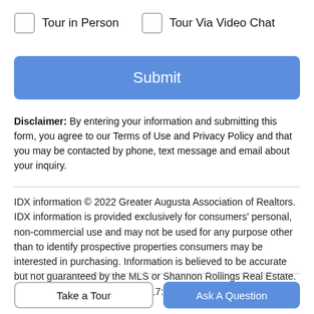Tour in Person
Tour Via Video Chat
Submit
Disclaimer: By entering your information and submitting this form, you agree to our Terms of Use and Privacy Policy and that you may be contacted by phone, text message and email about your inquiry.
IDX information © 2022 Greater Augusta Association of Realtors. IDX information is provided exclusively for consumers' personal, non-commercial use and may not be used for any purpose other than to identify prospective properties consumers may be interested in purchasing. Information is believed to be accurate but not guaranteed by the MLS or Shannon Rollings Real Estate. Data last updated 2022-08-22T17:55:44.407.
Take a Tour
Ask A Question